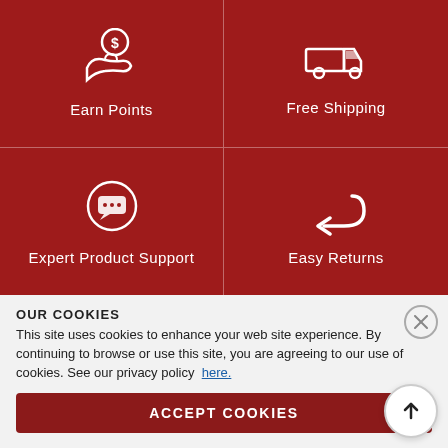[Figure (infographic): Red background features grid with four cells: Earn Points (hand with coin icon), Free Shipping (truck icon), Expert Product Support (chat bubble icon), Easy Returns (return arrow icon). Divided by white lines into 2x2 grid.]
OUR COOKIES
This site uses cookies to enhance your web site experience. By continuing to browse or use this site, you are agreeing to our use of cookies. See our privacy policy here.
ACCEPT COOKIES